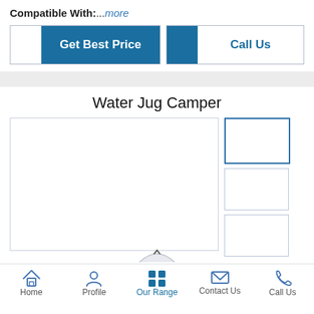Compatible With:...more
[Figure (screenshot): Two buttons: 'Get Best Price' (blue fill) and 'Call Us' (blue text, white fill) with border]
[Figure (screenshot): Gray divider bar]
Water Jug Camper
[Figure (photo): Main product image area (large white box) with three thumbnail image boxes on the right side]
Home | Profile | Our Range | Contact Us | Call Us